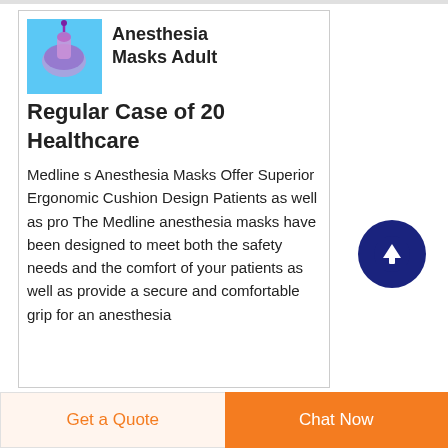[Figure (photo): Product image of anesthesia mask on light blue background]
Anesthesia Masks Adult Regular Case of 20 Healthcare
Medline s Anesthesia Masks Offer Superior Ergonomic Cushion Design Patients as well as pro The Medline anesthesia masks have been designed to meet both the safety needs and the comfort of your patients as well as provide a secure and comfortable grip for an anesthesia
[Figure (illustration): Dark blue circular scroll-to-top button with upward arrow]
Get a Quote
Chat Now